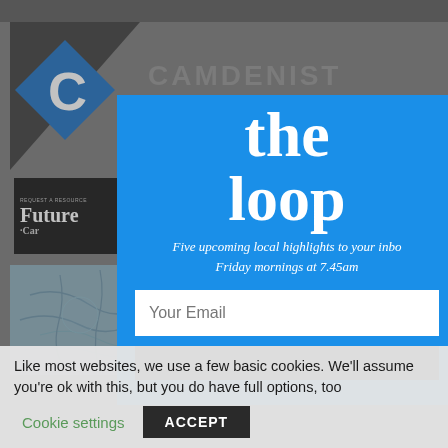[Figure (screenshot): Camdenist website background showing logo, site name, Future Camden card, and a map thumbnail, partially obscured by a modal overlay]
the loop
Five upcoming local highlights to your inbox. Friday mornings at 7.45am
Your  Email
Like most websites, we use a few basic cookies. We'll assume you're ok with this, but you do have full options, too
Cookie settings
ACCEPT